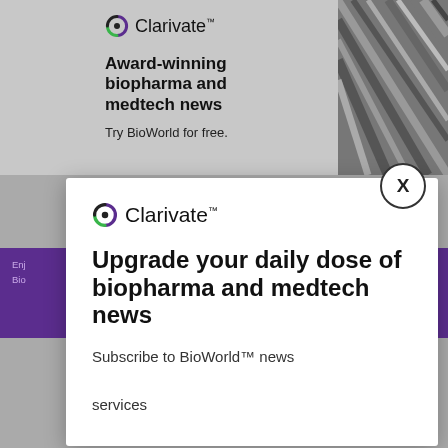[Figure (screenshot): Background ad banner showing Clarivate logo, 'Award-winning biopharma and medtech news' headline, 'Try BioWorld for free.' subtext, and a diagonal metal/architectural image on the right]
[Figure (screenshot): White modal popup with Clarivate logo, 'Upgrade your daily dose of biopharma and medtech news' headline, 'Subscribe to BioWorld™ news services' subtext, and X close button]
Enj... Bio...
with ... sy to